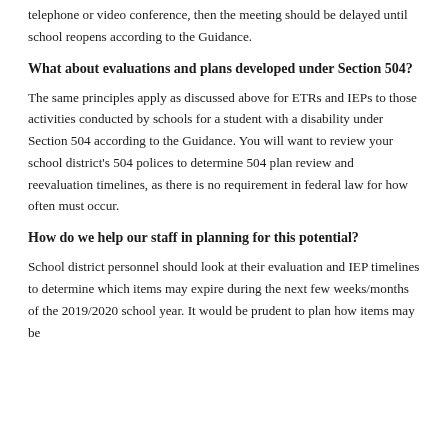telephone or video conference, then the meeting should be delayed until school reopens according to the Guidance.
What about evaluations and plans developed under Section 504?
The same principles apply as discussed above for ETRs and IEPs to those activities conducted by schools for a student with a disability under Section 504 according to the Guidance. You will want to review your school district’s 504 polices to determine 504 plan review and reevaluation timelines, as there is no requirement in federal law for how often must occur.
How do we help our staff in planning for this potential?
School district personnel should look at their evaluation and IEP timelines to determine which items may expire during the next few weeks/months of the 2019/2020 school year. It would be prudent to plan how items may be